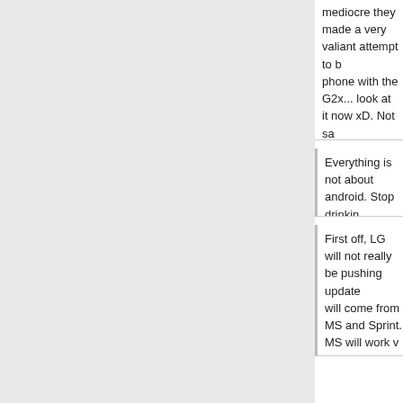mediocre they made a very valiant attempt to build a great phone with the G2x... look at it now xD. Not saying this phone isnt going to be a great phone I just really doubt it will be a phone good enough for Sprint Android users to
Everything is not about android. Stop drinkin
First off, LG will not really be pushing updates, all updates will come from MS and Sprint. MS will work with OEMs to make updates available work properly with their hardware. Nokia and Nokia, will have their own updates or s...
(continues)
Wheres the flash for the camera
No flash even for the camera that already is a strike out of the gate. Glad I left Sprint for Tmobile & my Lu... is not a good replacement for Sprint's Arrive.
I would guess that
the reason Sprint hasn't brought out any new W... since the Arrive, is because they haven't sold m... are too busy promoting the iPhone and their l...